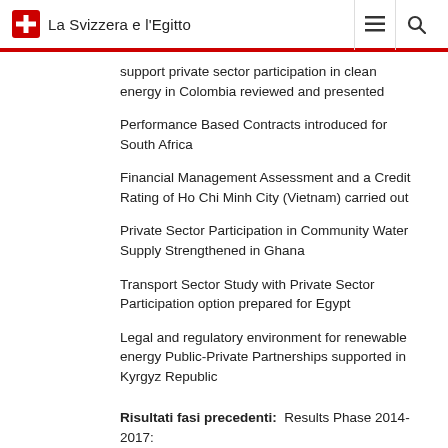La Svizzera e l'Egitto
support private sector participation in clean energy in Colombia reviewed and presented
Performance Based Contracts introduced for South Africa
Financial Management Assessment and a Credit Rating of Ho Chi Minh City (Vietnam) carried out
Private Sector Participation in Community Water Supply Strengthened in Ghana
Transport Sector Study with Private Sector Participation option prepared for Egypt
Legal and regulatory environment for renewable energy Public-Private Partnerships supported in Kyrgyz Republic
Risultati fasi precedenti: Results Phase 2014-2017:
- PPIAF approved US$62 million for 177 technical assistance and knowledge activities in 66 countries.